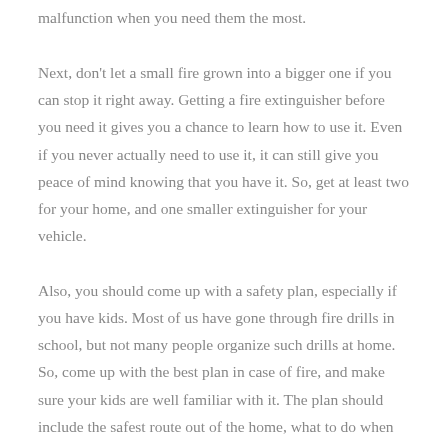malfunction when you need them the most.
Next, don't let a small fire grown into a bigger one if you can stop it right away. Getting a fire extinguisher before you need it gives you a chance to learn how to use it. Even if you never actually need to use it, it can still give you peace of mind knowing that you have it. So, get at least two for your home, and one smaller extinguisher for your vehicle.
Also, you should come up with a safety plan, especially if you have kids. Most of us have gone through fire drills in school, but not many people organize such drills at home. So, come up with the best plan in case of fire, and make sure your kids are well familiar with it. The plan should include the safest route out of the home, what to do when